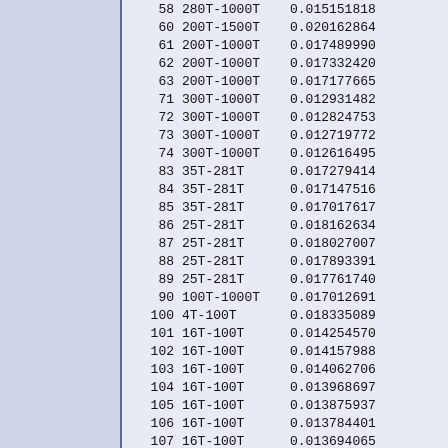|  |  |  |
| --- | --- | --- |
| 58 | 280T-1000T | 0.015151818 |
| 60 | 200T-1500T | 0.020162864 |
| 61 | 200T-1000T | 0.017489990 |
| 62 | 200T-1000T | 0.017332420 |
| 63 | 200T-1000T | 0.017177665 |
| 71 | 300T-1000T | 0.012931482 |
| 72 | 300T-1000T | 0.012824753 |
| 73 | 300T-1000T | 0.012719772 |
| 74 | 300T-1000T | 0.012616495 |
| 83 | 35T-281T | 0.017279414 |
| 84 | 35T-281T | 0.017147516 |
| 85 | 35T-281T | 0.017017617 |
| 86 | 25T-281T | 0.018162634 |
| 87 | 25T-281T | 0.018027007 |
| 88 | 25T-281T | 0.017893391 |
| 89 | 25T-281T | 0.017761740 |
| 90 | 100T-1000T | 0.017012691 |
| 100 | 4T-100T | 0.018335089 |
| 101 | 16T-100T | 0.014254570 |
| 102 | 16T-100T | 0.014157988 |
| 103 | 16T-100T | 0.014062706 |
| 104 | 16T-100T | 0.013968697 |
| 105 | 16T-100T | 0.013875937 |
| 106 | 16T-100T | 0.013784401 |
| 107 | 16T-100T | 0.013694065 |
| 108 | 16T-100T | 0.013604905 |
| 109 | 16T-100T | 0.013516898 |
| 110 | 30T-100T | 0.009970885 |
| 111 | 30T-100T | 0.009907309 |
| 112 | 30T-100T | 0.009844538 |
| 113 | 30T-100T | 0.009782... |